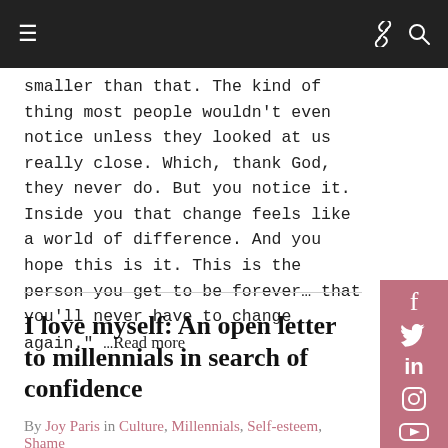Navigation bar with menu, link, and search icons
smaller than that. The kind of thing most people wouldn't even notice unless they looked at us really close. Which, thank God, they never do. But you notice it. Inside you that change feels like a world of difference. And you hope this is it. This is the person you get to be forever… that you'll never have to change again." …Read more
I love myself: An open letter to millennials in search of confidence
By Joy Paris in Culture, Millennials, Self-esteem, Shame